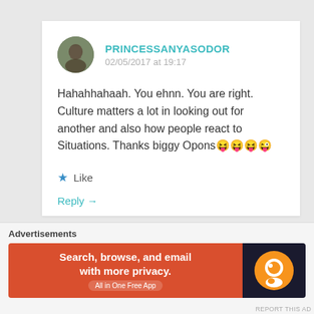PRINCESSANYASODOR
02/05/2017 at 19:17
Hahahhahaah. You ehnn. You are right. Culture matters a lot in looking out for another and also how people react to Situations. Thanks biggy Opons😝😝😝😜
★ Like
Reply →
Advertisements
Advertisements
Search, browse, and email with more privacy. All in One Free App